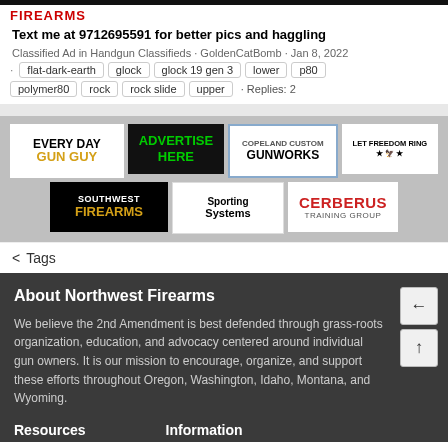FIREARMS
Text me at 9712695591 for better pics and haggling
Classified Ad in Handgun Classifieds · GoldenCatBomb · Jan 8, 2022
flat-dark-earth · glock · glock 19 gen 3 · lower · p80 · polymer80 · rock · rock slide · upper · Replies: 2
[Figure (other): Advertisement banners: Every Day Gun Guy, Advertise Here, Copeland Custom Gunworks, Let Freedom Ring, Southwest Firearms, Sporting Systems, Cerberus Training Group]
< Tags
About Northwest Firearms
We believe the 2nd Amendment is best defended through grass-roots organization, education, and advocacy centered around individual gun owners. It is our mission to encourage, organize, and support these efforts throughout Oregon, Washington, Idaho, Montana, and Wyoming.
Resources
Information